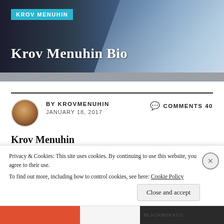KROV MENUHIN
Krov Menuhin Bio
BY KROVMENUHIN   COMMENTS 40   JANUARY 18, 2017
Krov Menuhin
Born Melbourne Australia 1940
Underwater filmmaker, professional diver,
Privacy & Cookies: This site uses cookies. By continuing to use this website, you agree to their use.
To find out more, including how to control cookies, see here: Cookie Policy
Close and accept